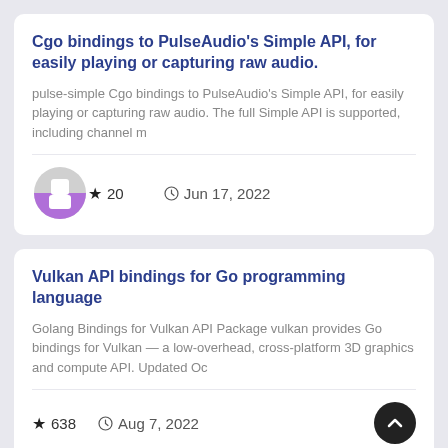Cgo bindings to PulseAudio's Simple API, for easily playing or capturing raw audio.
pulse-simple Cgo bindings to PulseAudio's Simple API, for easily playing or capturing raw audio. The full Simple API is supported, including channel m
[Figure (logo): Purple and grey avatar/logo icon]
★ 20   🕐 Jun 17, 2022
Vulkan API bindings for Go programming language
Golang Bindings for Vulkan API Package vulkan provides Go bindings for Vulkan — a low-overhead, cross-platform 3D graphics and compute API. Updated Oc
★ 638   🕐 Aug 7, 2022